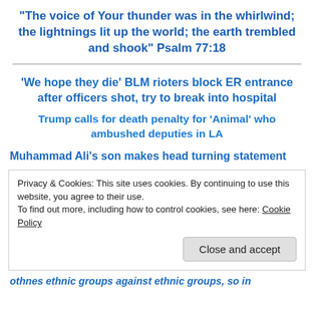“The voice of Your thunder was in the whirlwind; the lightnings lit up the world; the earth trembled and shook” Psalm 77:18
‘We hope they die’ BLM rioters block ER entrance after officers shot, try to break into hospital
Trump calls for death penalty for ‘Animal’ who ambushed deputies in LA
Muhammad Ali’s son makes head turning statement
Privacy & Cookies: This site uses cookies. By continuing to use this website, you agree to their use.
To find out more, including how to control cookies, see here: Cookie Policy
Close and accept
othnes ethnic groups against ethnic groups, so in